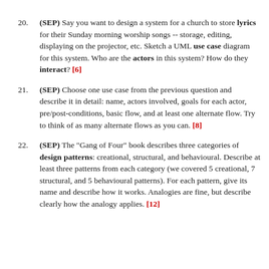20. (SEP) Say you want to design a system for a church to store lyrics for their Sunday morning worship songs -- storage, editing, displaying on the projector, etc. Sketch a UML use case diagram for this system. Who are the actors in this system? How do they interact? [6]
21. (SEP) Choose one use case from the previous question and describe it in detail: name, actors involved, goals for each actor, pre/post-conditions, basic flow, and at least one alternate flow. Try to think of as many alternate flows as you can. [8]
22. (SEP) The "Gang of Four" book describes three categories of design patterns: creational, structural, and behavioural. Describe at least three patterns from each category (we covered 5 creational, 7 structural, and 5 behavioural patterns). For each pattern, give its name and describe how it works. Analogies are fine, but describe clearly how the analogy applies. [12]